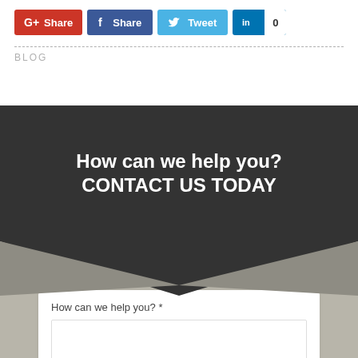[Figure (screenshot): Social share buttons row: Google+ Share (red), Facebook Share (dark blue), Twitter Tweet (light blue), LinkedIn share with count badge showing 0]
BLOG
How can we help you? CONTACT US TODAY
[Figure (infographic): Dark charcoal chevron/arrow pointing downward into grey background section]
How can we help you? *